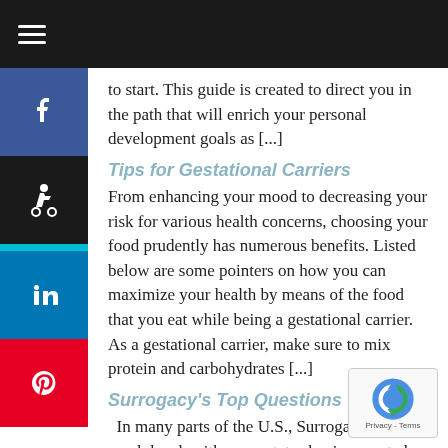to start. This guide is created to direct you in the path that will enrich your personal development goals as [...]
Tips for Gestational Carriers
From enhancing your mood to decreasing your risk for various health concerns, choosing your food prudently has numerous benefits. Listed below are some pointers on how you can maximize your health by means of the food that you eat while being a gestational carrier. As a gestational carrier, make sure to mix protein and carbohydrates [...]
Surrogacy's Top Questions
In many parts of the U.S., Surrogacy is very much legal, with some states having created laws on the procedure. In spite of its emerging popularity and appeal, there are actually a lot of people who are st...